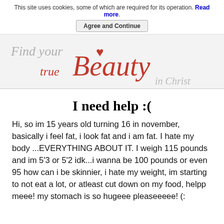This site uses cookies, some of which are required for its operation. Read more.
Agree and Continue
[Figure (illustration): Website banner reading 'Find your true Beauty in Christ' with red cursive script and a heart graphic]
I need help :(
Hi, so im 15 years old turning 16 in november, basically i feel fat, i look fat and i am fat. I hate my body ...EVERYTHING ABOUT IT. I weigh 115 pounds and im 5'3 or 5'2 idk...i wanna be 100 pounds or even 95 how can i be skinnier, i hate my weight, im starting to not eat a lot, or atleast cut down on my food, helpp meee! my stomach is so hugeee pleaseeeee! (: